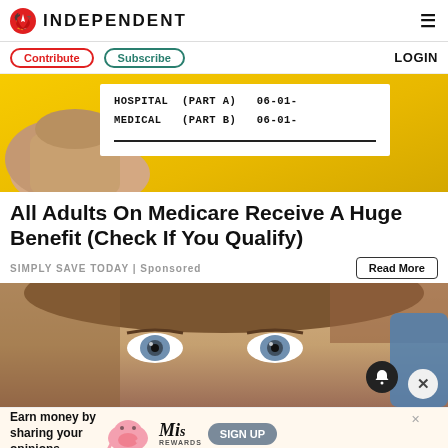INDEPENDENT
Contribute  Subscribe  LOGIN
[Figure (photo): Close-up of a Medicare card being held, showing HOSPITAL (PART A) 06-01- and MEDICAL (PART B) 06-01- on a yellow background]
All Adults On Medicare Receive A Huge Benefit (Check If You Qualify)
SIMPLY SAVE TODAY | Sponsored
[Figure (photo): Close-up of a woman's face with blue eyes and brown hair, partially obscured, with a blue-gloved hand visible on the right]
Earn money by sharing your opinions